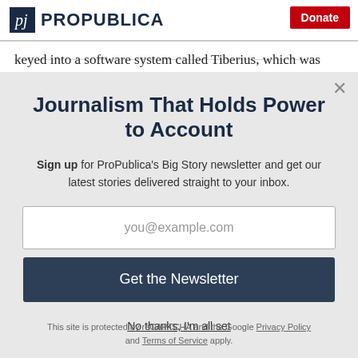ProPublica | Donate
keyed into a software system called Tiberius, which was built for the government by the data analysis
Journalism That Holds Power to Account
Sign up for ProPublica's Big Story newsletter and get our latest stories delivered straight to your inbox.
you@example.com
Get the Newsletter
No thanks, I'm all set
This site is protected by reCAPTCHA and the Google Privacy Policy and Terms of Service apply.